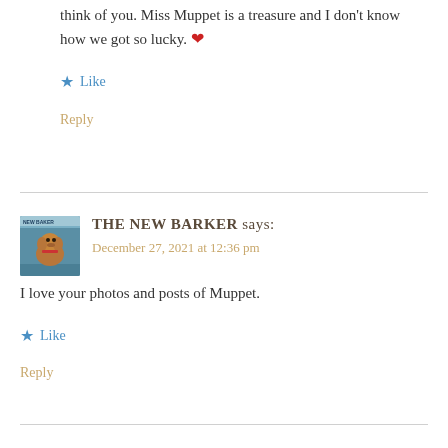think of you. Miss Muppet is a treasure and I don't know how we got so lucky. ❤
★ Like
Reply
[Figure (photo): Avatar image of a dog (dachshund) sitting in a blue chair, with a magazine-style cover overlay]
THE NEW BARKER says: December 27, 2021 at 12:36 pm
I love your photos and posts of Muppet.
★ Like
Reply